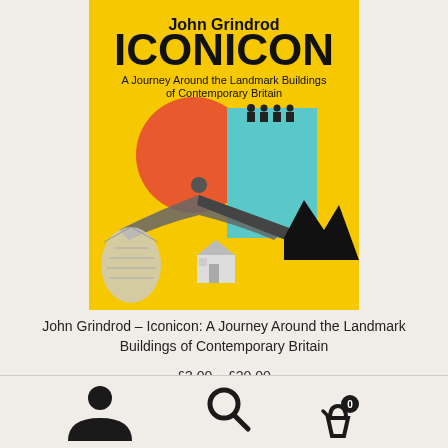[Figure (illustration): Book cover of 'Iconicon' by John Grindrod. Yellow background with large bold text 'John Grindrod' and 'ICONICON' at top, subtitle 'A Journey Around the Landmark Buildings of Contemporary Britain'. Cover features a collage illustration including a large orange sun circle, a cyan/turquoise rectangle, the Angel of the North sculpture, a small terraced house, a Gherkin-style building, and a zigzag black mountain silhouette. Small figures stand on top of the cyan rectangle.]
John Grindrod – Iconicon: A Journey Around the Landmark Buildings of Contemporary Britain
£3.00 – £20.00
[Figure (illustration): Bottom navigation bar with three icons: a person/account icon on the left, a magnifying glass/search icon in the center, and a shopping basket icon with a '0' badge on the right.]